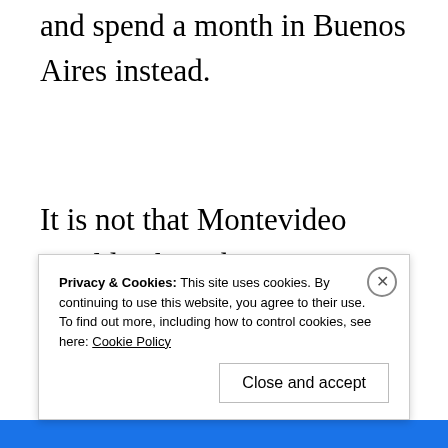and spend a month in Buenos Aires instead.
It is not that Montevideo wouldn't have been a nice place to stay. However – and it is with the greatest of tact that I say this as we genuinely liked the place – there really isn't much going on, and
Privacy & Cookies: This site uses cookies. By continuing to use this website, you agree to their use. To find out more, including how to control cookies, see here: Cookie Policy
Close and accept